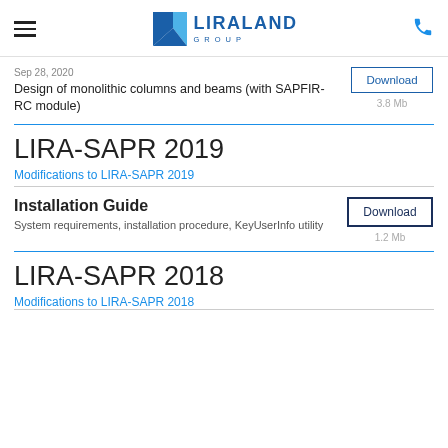LIRALAND GROUP
Sep 28, 2020
Design of monolithic columns and beams (with SAPFIR-RC module)
Download
3.8 Mb
LIRA-SAPR 2019
Modifications to LIRA-SAPR 2019
Installation Guide
System requirements, installation procedure, KeyUserInfo utility
Download
1.2 Mb
LIRA-SAPR 2018
Modifications to LIRA-SAPR 2018